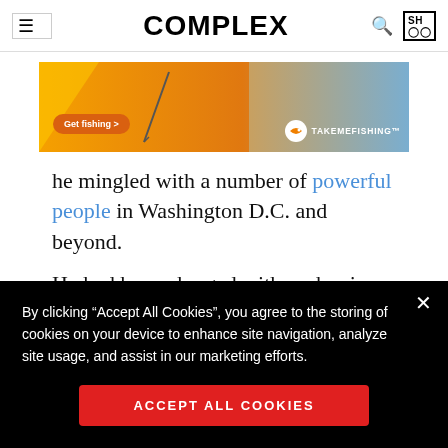COMPLEX
[Figure (photo): TakeMeFishing.org advertisement banner showing a woman fishing with an orange background and 'Get fishing >' button]
he mingled with a number of powerful people in Washington D.C. and beyond.
He had been charged with such crimes before,
By clicking “Accept All Cookies”, you agree to the storing of cookies on your device to enhance site navigation, analyze site usage, and assist in our marketing efforts.
ACCEPT ALL COOKIES